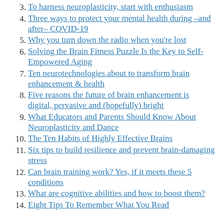3. To harness neuroplasticity, start with enthusiasm
4. Three ways to protect your mental health during –and after– COVID-19
5. Why you turn down the radio when you're lost
6. Solving the Brain Fitness Puzzle Is the Key to Self-Empowered Aging
7. Ten neurotechnologies about to transform brain enhancement & health
8. Five reasons the future of brain enhancement is digital, pervasive and (hopefully) bright
9. What Educators and Parents Should Know About Neuroplasticity and Dance
10. The Ten Habits of Highly Effective Brains
11. Six tips to build resilience and prevent brain-damaging stress
12. Can brain training work? Yes, if it meets these 5 conditions
13. What are cognitive abilities and how to boost them?
14. Eight Tips To Remember What You Read